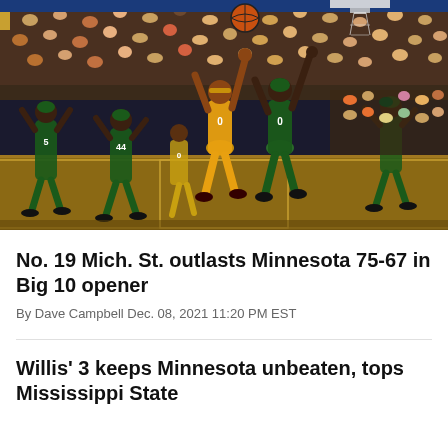[Figure (photo): Basketball game action photo: A Minnesota player in gold uniform goes up for a layup/shot attempt against a Michigan State defender in green. Multiple other players visible on the court. A packed arena crowd is visible in the background. Michigan State players wear green and white uniforms with Spartan helmet logos.]
No. 19 Mich. St. outlasts Minnesota 75-67 in Big 10 opener
By Dave Campbell Dec. 08, 2021 11:20 PM EST
Willis' 3 keeps Minnesota unbeaten, tops Mississippi State